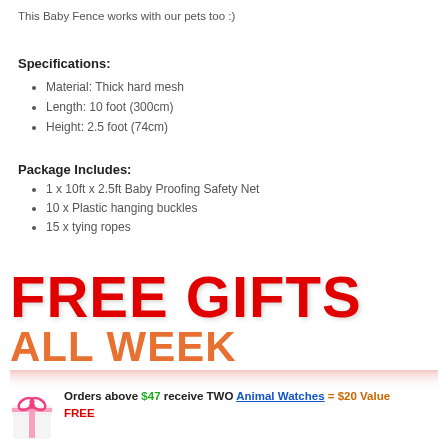This Baby Fence works with our pets too :)
Specifications:
Material: Thick hard mesh
Length: 10 foot (300cm)
Height: 2.5 foot (74cm)
Package Includes:
1 x 10ft x 2.5ft Baby Proofing Safety Net
10 x Plastic hanging buckles
15 x tying ropes
[Figure (infographic): FREE GIFTS ALL WEEK promotional banner in large red and orange bold text with reflection effect]
Orders above $47 receive TWO Animal Watches = $20 Value FREE